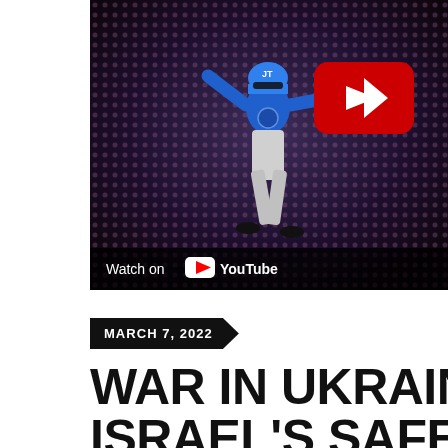[Figure (screenshot): YouTube video thumbnail showing a person in a blue helmet and blue shirt with arms outstretched, against a dark dotted/grid background. A red YouTube play button is visible in the upper right of the video. A 'Watch on YouTube' bar appears at the bottom of the thumbnail.]
MARCH 7, 2022
WAR IN UKRAINE..IN TH ISRAEL'S SAFETY WILL